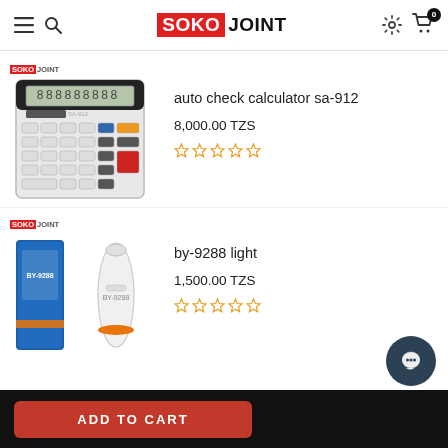SOKO JOINT
[Figure (photo): Photo of auto check calculator sa-912 desktop calculator]
auto check calculator sa-912
8,000.00 TZS
[Figure (photo): Star rating: 0 out of 5 stars (5 empty stars)]
[Figure (photo): Photo of by-9288 light - a portable light device with its box]
by-9288 light
1,500.00 TZS
[Figure (photo): Star rating: 0 out of 5 stars (5 empty stars)]
ADD TO CART